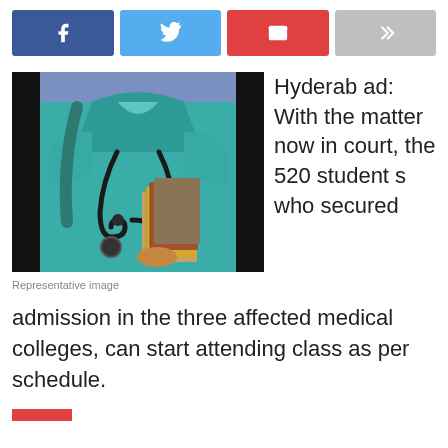[Figure (other): Social share buttons: Facebook, Twitter, Email, Forward]
[Figure (photo): A nurse/medical student in teal scrubs wearing a stethoscope and carrying books]
Representative image
Hyderabad: With the matter now in court, the 520 students who secured admission in the three affected medical colleges, can start attending class as per schedule.